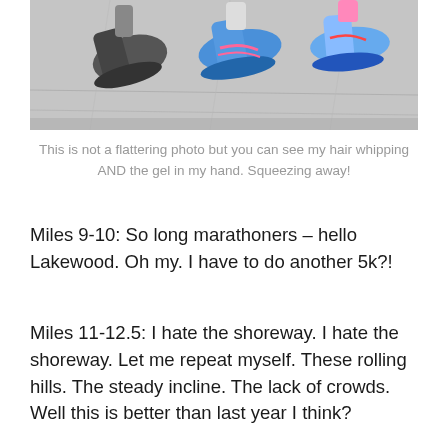[Figure (photo): Close-up photo of runners' feet and shoes mid-stride on pavement during a road race, showing colorful running shoes.]
This is not a flattering photo but you can see my hair whipping AND the gel in my hand. Squeezing away!
Miles 9-10: So long marathoners – hello Lakewood. Oh my. I have to do another 5k?!
Miles 11-12.5: I hate the shoreway. I hate the shoreway. Let me repeat myself. These rolling hills. The steady incline. The lack of crowds. Well this is better than last year I think?